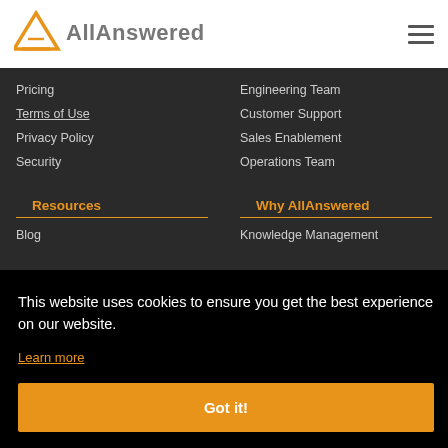[Figure (logo): AllAnswered logo with orange triangle icon and grey text]
Pricing
Terms of Use
Privacy Policy
Security
Engineering Team
Customer Support
Sales Enablement
Operations Team
Resources
Why AllAnswered
Blog
Knowledge Management
This website uses cookies to ensure you get the best experience on our website.
Learn more
Got it!